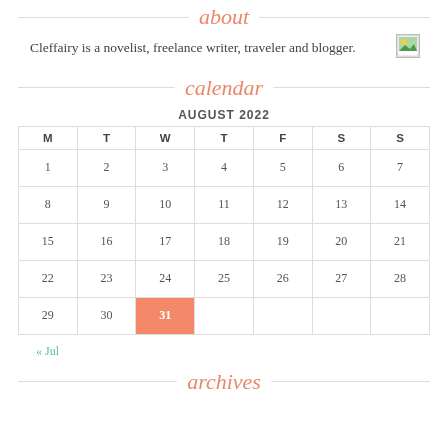about
Cleffairy is a novelist, freelance writer, traveler and blogger.
calendar
AUGUST 2022
| M | T | W | T | F | S | S |
| --- | --- | --- | --- | --- | --- | --- |
| 1 | 2 | 3 | 4 | 5 | 6 | 7 |
| 8 | 9 | 10 | 11 | 12 | 13 | 14 |
| 15 | 16 | 17 | 18 | 19 | 20 | 21 |
| 22 | 23 | 24 | 25 | 26 | 27 | 28 |
| 29 | 30 | 31 |  |  |  |  |
« Jul
archives